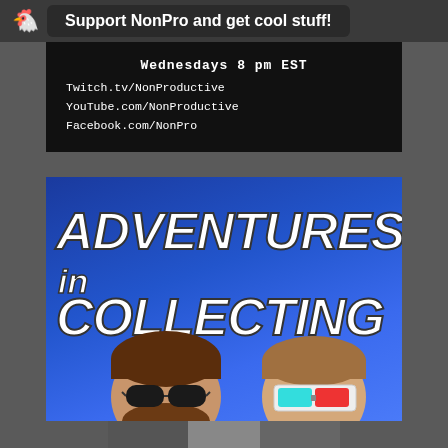Support NonPro and get cool stuff!
[Figure (screenshot): Black background panel showing 'Wednesdays 8 pm EST' and social links: Twitch.tv/NonProductive, YouTube.com/NonProductive, Facebook.com/NonPro]
[Figure (illustration): Adventures in Collecting logo/banner with blue background and two cartoon character heads - one with dark sunglasses and one with 3D glasses. Bold white italic text reads 'Adventures in Collecting']
[Figure (photo): Partial image strip at the bottom of the page]